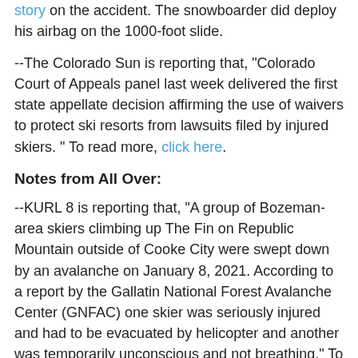story on the accident. The snowboarder did deploy his airbag on the 1000-foot slide.
--The Colorado Sun is reporting that, "Colorado Court of Appeals panel last week delivered the first state appellate decision affirming the use of waivers to protect ski resorts from lawsuits filed by injured skiers. " To read more, click here.
Notes from All Over:
--KURL 8 is reporting that, "A group of Bozeman-area skiers climbing up The Fin on Republic Mountain outside of Cooke City were swept down by an avalanche on January 8, 2021. According to a report by the Gallatin National Forest Avalanche Center (GNFAC) one skier was seriously injured and had to be evacuated by helicopter and another was temporarily unconscious and not breathing." To read more, click here.
--A Wisconsin skier was airlifted to a hospital after hitting a light pole on Saturday. To read more, click here.